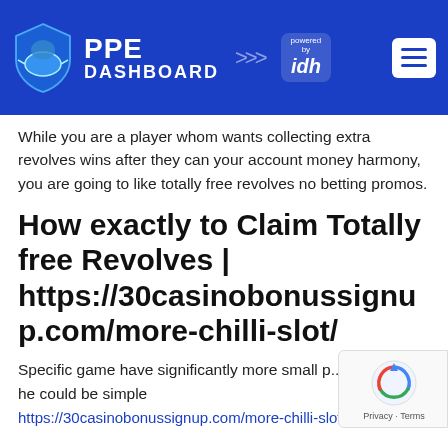PPE DASHBOARD powered by idh
While you are a player whom wants collecting extra revolves wins after they can your account money harmony, you are going to like totally free revolves no betting promos.
How exactly to Claim Totally free Revolves | https://30casinobonussignup.com/more-chilli-slot/
Specific game have significantly more small p... but always he could be simple
https://30casinobonussignup.com/more-chilli-slot/